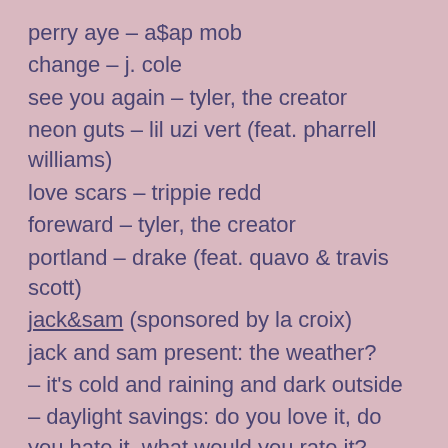perry aye – a$ap mob
change – j. cole
see you again – tyler, the creator
neon guts – lil uzi vert (feat. pharrell williams)
love scars – trippie redd
foreward – tyler, the creator
portland – drake (feat. quavo & travis scott)
jack&sam (sponsored by la croix)
jack and sam present: the weather?
– it's cold and raining and dark outside
– daylight savings: do you love it, do you hate it, what would you rate it?
– sam has another mental